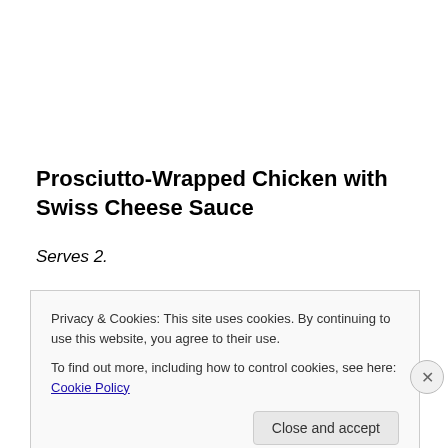Prosciutto-Wrapped Chicken with Swiss Cheese Sauce
Serves 2.
Tools
Cutting board
Plastic wrap
Large stainless steel or cast iron skillet (not nonstick)
Privacy & Cookies: This site uses cookies. By continuing to use this website, you agree to their use.
To find out more, including how to control cookies, see here: Cookie Policy
Close and accept